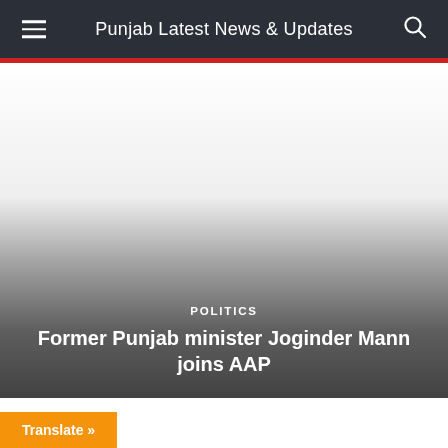Punjab Latest News & Updates
[Figure (photo): News website screenshot showing a header bar with hamburger menu, 'Punjab Latest News & Updates' title, and search icon on dark background. Below is a large image area with gradient overlay, showing a POLITICS category label and article title.]
POLITICS
Former Punjab minister Joginder Mann joins AAP
Translate »